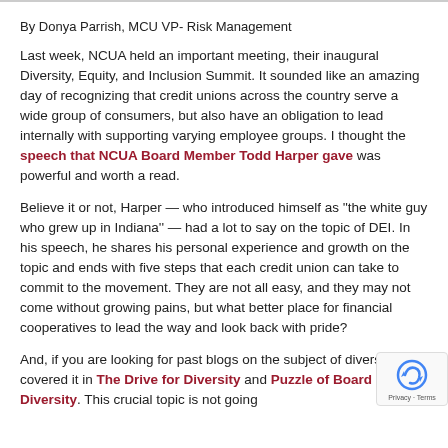By Donya Parrish, MCU VP- Risk Management
Last week, NCUA held an important meeting, their inaugural Diversity, Equity, and Inclusion Summit. It sounded like an amazing day of recognizing that credit unions across the country serve a wide group of consumers, but also have an obligation to lead internally with supporting varying employee groups. I thought the speech that NCUA Board Member Todd Harper gave was powerful and worth a read.
Believe it or not, Harper — who introduced himself as ''the white guy who grew up in Indiana'' — had a lot to say on the topic of DEI. In his speech, he shares his personal experience and growth on the topic and ends with five steps that each credit union can take to commit to the movement. They are not all easy, and they may not come without growing pains, but what better place for financial cooperatives to lead the way and look back with pride?
And, if you are looking for past blogs on the subject of diversity, we covered it in The Drive for Diversity and Puzzle of Board Diversity. This crucial topic is not going